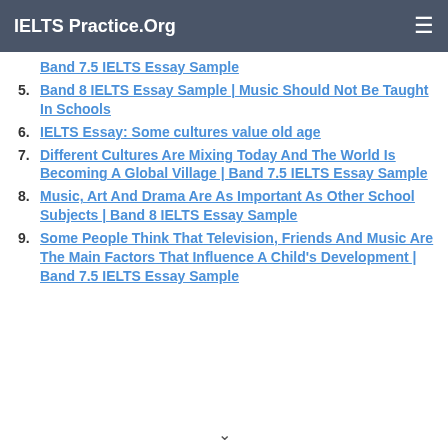IELTS Practice.Org
Band 7.5 IELTS Essay Sample
5. Band 8 IELTS Essay Sample | Music Should Not Be Taught In Schools
6. IELTS Essay: Some cultures value old age
7. Different Cultures Are Mixing Today And The World Is Becoming A Global Village | Band 7.5 IELTS Essay Sample
8. Music, Art And Drama Are As Important As Other School Subjects | Band 8 IELTS Essay Sample
9. Some People Think That Television, Friends And Music Are The Main Factors That Influence A Child's Development | Band 7.5 IELTS Essay Sample